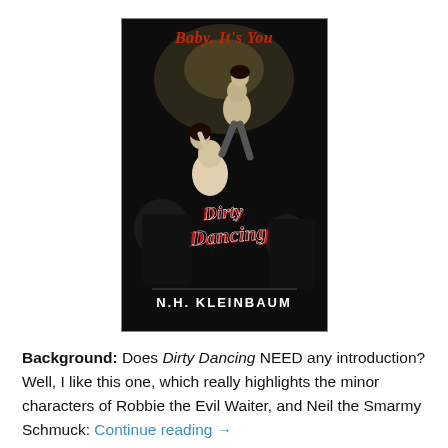[Figure (photo): Book cover of 'Baby, It's You / Dirty Dancing' by N.H. Kleinbaum. Black and white photo of two dancers on the cover, with 'Baby, It's You' in red text at the top, 'Dirty Dancing' in large red stylized script in the center, and 'N.H. KLEINBAUM' in white serif text at the bottom.]
Background: Does Dirty Dancing NEED any introduction? Well, I like this one, which really highlights the minor characters of Robbie the Evil Waiter, and Neil the Smarmy Schmuck: Continue reading →